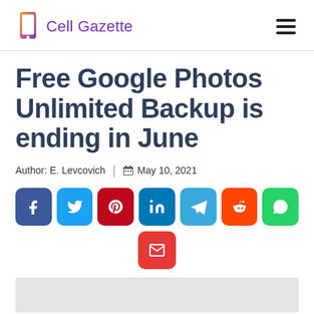Cell Gazette
Free Google Photos Unlimited Backup is ending in June
Author: E. Levcovich | May 10, 2021
[Figure (infographic): Social media share buttons row: Facebook, Twitter, Pinterest, LinkedIn, Telegram, Reddit, WhatsApp, and Email]
[Figure (photo): Gray placeholder image at bottom of page]